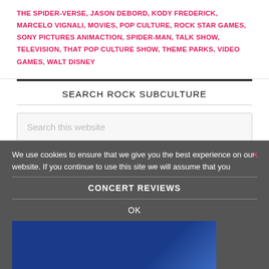THE SPIDER-VERSE, JASON DEBORD, KODY FREDERICK, MARCELO VIGNALI, MOVIES, POP CULTURE, ROCK STAR GAMES, SONY PICTURES ANIMACTION, SPIDER-MAN, TALK SHOW, TELEVISION, THAT POP CULTURE SHOW, THEME PARKS, VIDEO GAMES, WALT DISNEY
SEARCH ROCK SUBCULTURE
Search this website
We use cookies to ensure that we give you the best experience on our website. If you continue to use this site we will assume that you are happy with it.
CONCERT REVIEWS
OK
[Figure (photo): A blue-toned photo of a concert performer on stage]